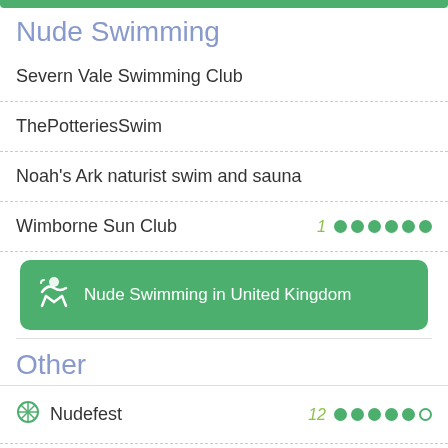Nude Swimming
Severn Vale Swimming Club
ThePotteriesSwim
Noah's Ark naturist swim and sauna
Wimborne Sun Club
[Figure (other): Green banner button: Nude Swimming in United Kingdom with activity icon]
Other
Nudefest
Newnham Riverbank Club